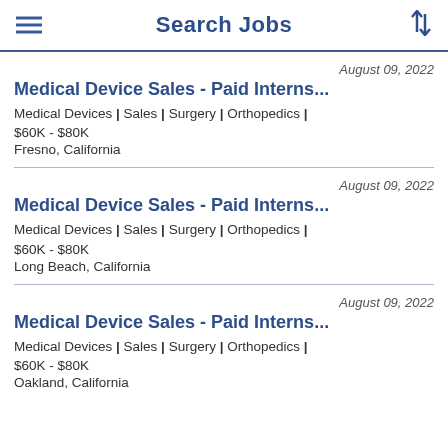Search Jobs
August 09, 2022 | Medical Device Sales - Paid Interns... | Medical Devices | Sales | Surgery | Orthopedics | $60K - $80K | Fresno, California
August 09, 2022 | Medical Device Sales - Paid Interns... | Medical Devices | Sales | Surgery | Orthopedics | $60K - $80K | Long Beach, California
August 09, 2022 | Medical Device Sales - Paid Interns... | Medical Devices | Sales | Surgery | Orthopedics | $60K - $80K | Oakland, California